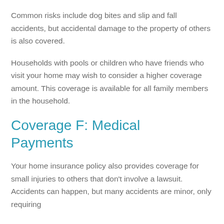Common risks include dog bites and slip and fall accidents, but accidental damage to the property of others is also covered.
Households with pools or children who have friends who visit your home may wish to consider a higher coverage amount. This coverage is available for all family members in the household.
Coverage F: Medical Payments
Your home insurance policy also provides coverage for small injuries to others that don't involve a lawsuit. Accidents can happen, but many accidents are minor, only requiring